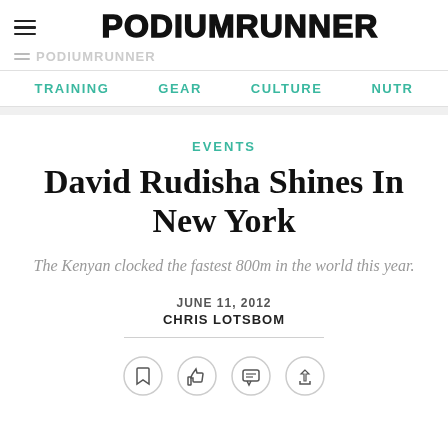PODIUMRUNNER
TRAINING  GEAR  CULTURE  NUTR
EVENTS
David Rudisha Shines In New York
The Kenyan clocked the fastest 800m in the world this year.
JUNE 11, 2012
CHRIS LOTSBOM